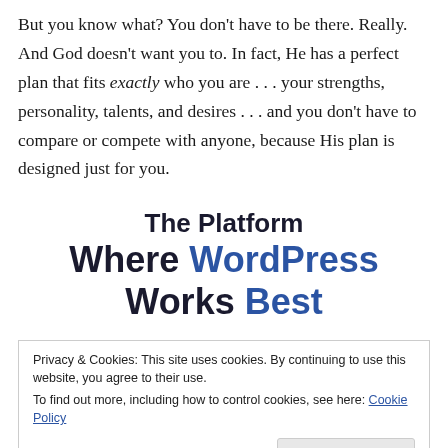But you know what? You don't have to be there. Really. And God doesn't want you to. In fact, He has a perfect plan that fits exactly who you are . . . your strengths, personality, talents, and desires . . . and you don't have to compare or compete with anyone, because His plan is designed just for you.
[Figure (screenshot): Screenshot of a website promotional banner showing the text 'The Platform Where WordPress Works Best' with 'WordPress' and 'Best' in blue.]
Privacy & Cookies: This site uses cookies. By continuing to use this website, you agree to their use. To find out more, including how to control cookies, see here: Cookie Policy